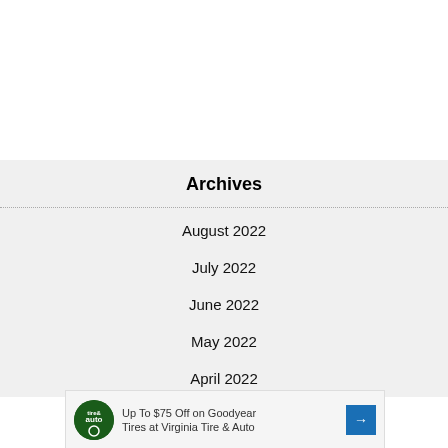Archives
August 2022
July 2022
June 2022
May 2022
April 2022
[Figure (other): Advertisement: Up To $75 Off on Goodyear Tires at Virginia Tire & Auto, with tire and auto logo and navigation arrow icon]